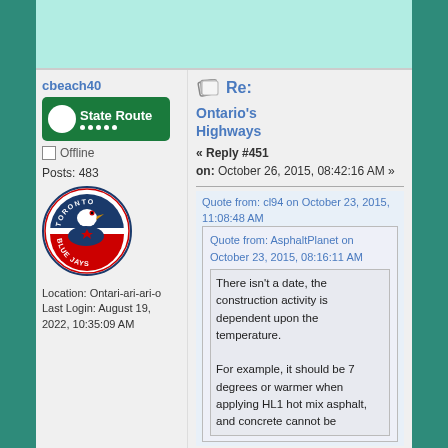[Figure (screenshot): Forum post page screenshot with teal background, top banner, left user panel and right reply panel]
cbeach40
[Figure (logo): Green State Route badge with white circle and dots]
Offline
Posts: 483
[Figure (logo): Toronto Blue Jays circular logo]
Location: Ontari-ari-ari-o
Last Login: August 19, 2022, 10:35:09 AM
Re:
Ontario's Highways
« Reply #451 on: October 26, 2015, 08:42:16 AM »
Quote from: cl94 on October 23, 2015, 11:08:48 AM
Quote from: AsphaltPlanet on October 23, 2015, 08:16:11 AM
There isn't a date, the construction activity is dependent upon the temperature.

For example, it should be 7 degrees or warmer when applying HL1 hot mix asphalt, and concrete cannot be